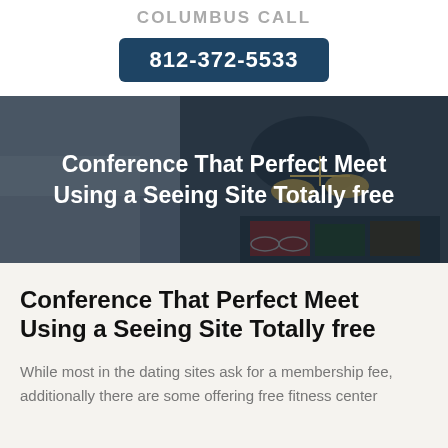COLUMBUS CALL
812-372-5533
[Figure (photo): A person in a dark suit holding scales of justice with law books, dimly lit courtroom-style background]
Conference That Perfect Meet Using a Seeing Site Totally free
Conference That Perfect Meet Using a Seeing Site Totally free
While most in the dating sites ask for a membership fee, additionally there are some offering free fitness center